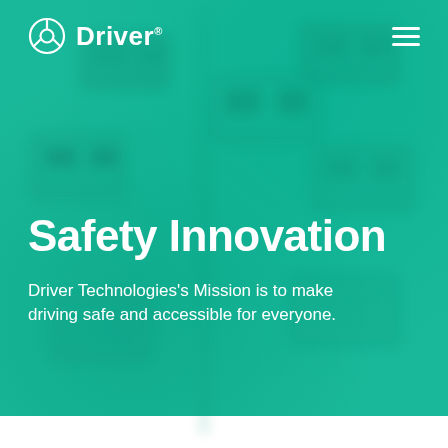[Figure (screenshot): Driver Technologies website hero section with teal/green blurred background showing cars from above, featuring a navigation bar with the Driver logo and hamburger menu icon, a large bold 'Safety Innovation' heading, and a subtitle about the company mission.]
Driver
Safety Innovation
Driver Technologies's Mission is to make driving safe and accessible for everyone.